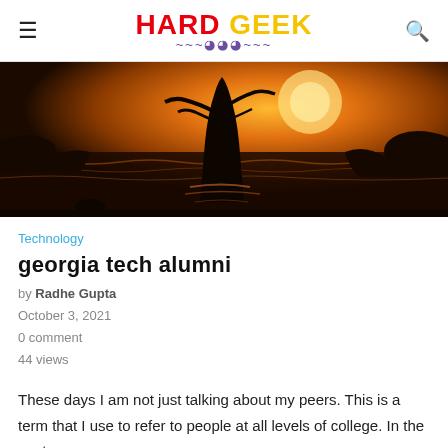HARD GEEK
[Figure (photo): Silhouette of a person and tree branches reflected on water at golden sunset/dusk]
Technology
georgia tech alumni
by Radhe Gupta
October 3, 2021
0 comment
44 views
These days I am not just talking about my peers. This is a term that I use to refer to people at all levels of college. In the past,